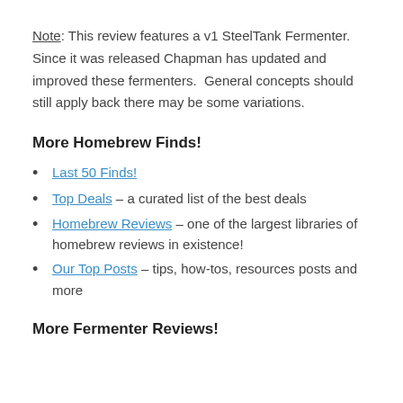Note: This review features a v1 SteelTank Fermenter. Since it was released Chapman has updated and improved these fermenters. General concepts should still apply back there may be some variations.
More Homebrew Finds!
Last 50 Finds!
Top Deals – a curated list of the best deals
Homebrew Reviews – one of the largest libraries of homebrew reviews in existence!
Our Top Posts – tips, how-tos, resources posts and more
More Fermenter Reviews!